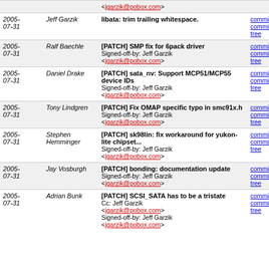| Date | Author | Commit message | Links |
| --- | --- | --- | --- |
| 2005-07-31 | Jeff Garzik | libata: trim trailing whitespace. | commit | commitdiff | tree |
| 2005-07-31 | Ralf Baechle | [PATCH] SMP fix for 6pack driver
Signed-off-by: Jeff Garzik <jgarzik@pobox.com> | commit | commitdiff | tree |
| 2005-07-31 | Daniel Drake | [PATCH] sata_nv: Support MCP51/MCP55 device IDs
Signed-off-by: Jeff Garzik <jgarzik@pobox.com> | commit | commitdiff | tree |
| 2005-07-31 | Tony Lindgren | [PATCH] Fix OMAP specific typo in smc91x.h
Signed-off-by: Jeff Garzik <jgarzik@pobox.com> | commit | commitdiff | tree |
| 2005-07-31 | Stephen Hemminger | [PATCH] sk98lin: fix workaround for yukon-lite chipset...
Signed-off-by: Jeff Garzik <jgarzik@pobox.com> | commit | commitdiff | tree |
| 2005-07-31 | Jay Vosburgh | [PATCH] bonding: documentation update
Signed-off-by: Jeff Garzik <jgarzik@pobox.com> | commit | commitdiff | tree |
| 2005-07-31 | Adrian Bunk | [PATCH] SCSI_SATA has to be a tristate
Cc: Jeff Garzik <jgarzik@pobox.com>
Signed-off-by: Jeff Garzik <jgarzik@pobox.com> | commit | commitdiff | tree |